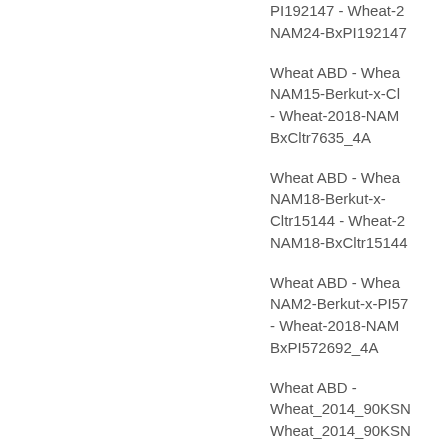PI192147 - Wheat-2018-NAM24-BxPI192147
Wheat ABD - Wheat-NAM15-Berkut-x-Cltr7635 - Wheat-2018-NAM15-BxCltr7635_4A
Wheat ABD - Wheat-NAM18-Berkut-x-Cltr15144 - Wheat-2018-NAM18-BxCltr15144
Wheat ABD - Wheat-NAM2-Berkut-x-PI572692 - Wheat-2018-NAM2-BxPI572692_4A
Wheat ABD - Wheat_2014_90KSNP - Wheat_2014_90KSNP
Wheat ABD - Wheat-NAM29-Berkut-x-PI220431 - Wheat-2018-NAM29-BxPI220431
Wheat ABD - Wheat-NAM5-Berkut-x-PI382150 - Wheat-2018-NAM5-BxPI382150_4A
Wheat ABD - Wheat